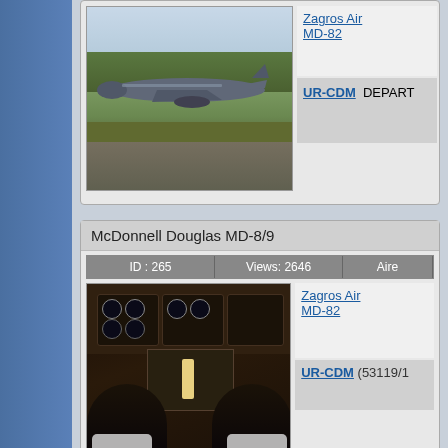[Figure (photo): Aircraft (MD-82) on runway, Zagros Air livery, green grass and sky background]
Zagros Air MD-82
UR-CDM  DEPART...
McDonnell Douglas MD-8/9
| ID : 265 | Views: 2646 | Aire... |
| --- | --- | --- |
[Figure (photo): MD-82 cockpit interior with pilots and flight instruments]
Zagros Air MD-82
UR-CDM (53119/1...